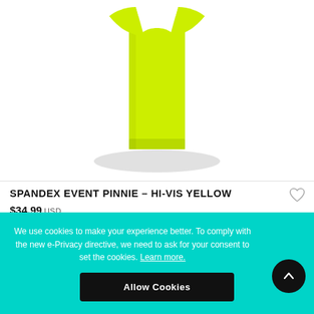[Figure (photo): Product photo of a hi-vis yellow spandex event pinnie/vest on a white background with a subtle shadow beneath it.]
SPANDEX EVENT PINNIE - HI-VIS YELLOW
$34.99 USD
We use cookies to make your experience better. To comply with the new e-Privacy directive, we need to ask for your consent to set the cookies. Learn more.
Allow Cookies